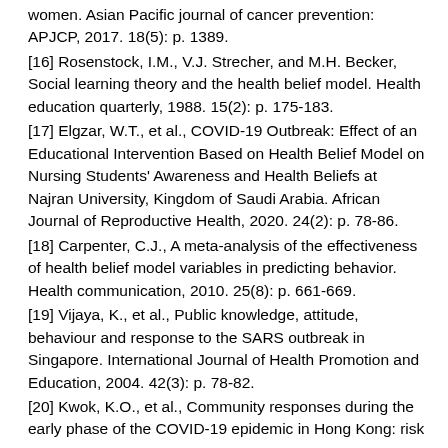women. Asian Pacific journal of cancer prevention: APJCP, 2017. 18(5): p. 1389.
[16] Rosenstock, I.M., V.J. Strecher, and M.H. Becker, Social learning theory and the health belief model. Health education quarterly, 1988. 15(2): p. 175-183.
[17] Elgzar, W.T., et al., COVID-19 Outbreak: Effect of an Educational Intervention Based on Health Belief Model on Nursing Students' Awareness and Health Beliefs at Najran University, Kingdom of Saudi Arabia. African Journal of Reproductive Health, 2020. 24(2): p. 78-86.
[18] Carpenter, C.J., A meta-analysis of the effectiveness of health belief model variables in predicting behavior. Health communication, 2010. 25(8): p. 661-669.
[19] Vijaya, K., et al., Public knowledge, attitude, behaviour and response to the SARS outbreak in Singapore. International Journal of Health Promotion and Education, 2004. 42(3): p. 78-82.
[20] Kwok, K.O., et al., Community responses during the early phase of the COVID-19 epidemic in Hong Kong: risk